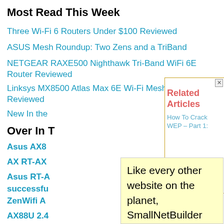Most Read This Week
Three Wi-Fi 6 Routers Under $100 Reviewed
ASUS Mesh Roundup: Two Zens and a TriBand
NETGEAR RAXE500 Nighthawk Tri-Band WiFi 6E Router Reviewed
Linksys MX8500 Atlas Max 6E Wi-Fi Mesh System Reviewed
New In the...
Over In T...
Asus AX8...
AX RT-AX...
Asus RT-A...
successfu...
ZenWifi A...
AX88U 2.4...
[Figure (screenshot): Related Articles overlay panel showing title 'Related Articles' in pink/red and a link 'How To Crack WEP - Part 1:' in blue, with a close button (x) in the top right corner.]
Like every other website on the planet, SmallNetBuilder uses cookies. Our cookies track login status, but we only allow admins to log in anyway, so those don't apply to you. Any other cookies you pick up during your visit come from advertisers, which we don't control.
If you continue to use the site, you agree to tolerate our use of cookies. Thank you!